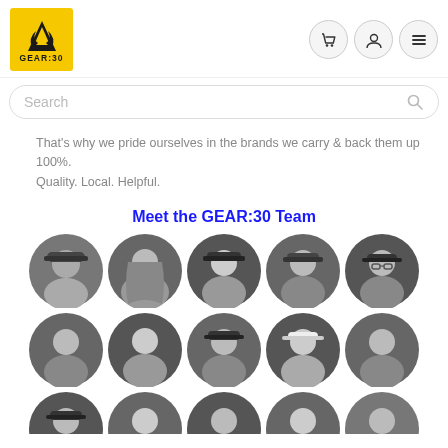[Figure (logo): GEAR:30 logo — yellow square with mountain/flame icon and GEAR:30 text]
[Figure (infographic): Navigation icons: shopping cart, user/account, and hamburger menu in circular buttons]
[Figure (screenshot): Search bar with placeholder text 'Search' and magnifying glass icon]
That's why we pride ourselves in the brands we carry & back them up 100%. Quality. Local. Helpful.
Meet the GEAR:30 Team
[Figure (photo): Grid of circular black-and-white portrait photos of GEAR:30 team members, 5 columns, 3 rows visible (partially cut off at bottom)]